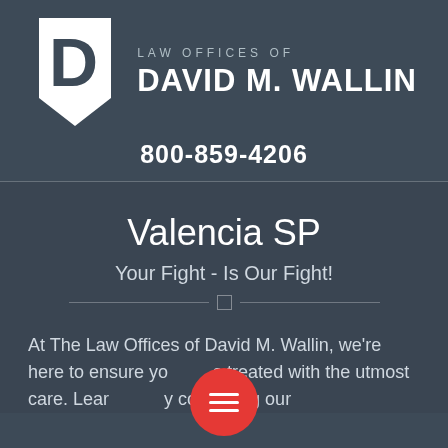[Figure (logo): Law Offices of David M. Wallin logo — white shield/pennant shape with a D letterform, beside text 'LAW OFFICES OF DAVID M. WALLIN']
800-859-4206
Valencia SP
Your Fight - Is Our Fight!
At The Law Offices of David M. Wallin, we're here to ensure yo s treated with the utmost care. Lear y contacting our